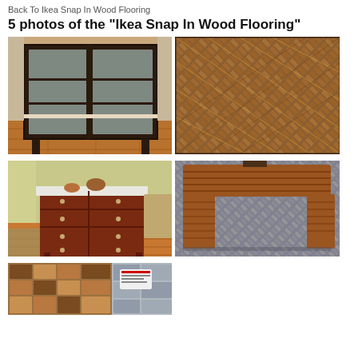Back To Ikea Snap In Wood Flooring
5 photos of the "Ikea Snap In Wood Flooring"
[Figure (photo): Dark wood glass-door cabinet/bookcase against a wall with warm wood flooring]
[Figure (photo): Overhead view of snap-in wood deck tiles arranged in herringbone pattern with small lights]
[Figure (photo): Dark wood dresser with drawers in a living room with warm wood flooring]
[Figure (photo): Wooden bench/coffee table on gray snap-in deck tiles in herringbone pattern]
[Figure (photo): Close-up of mixed wood snap-in flooring tiles sample display]